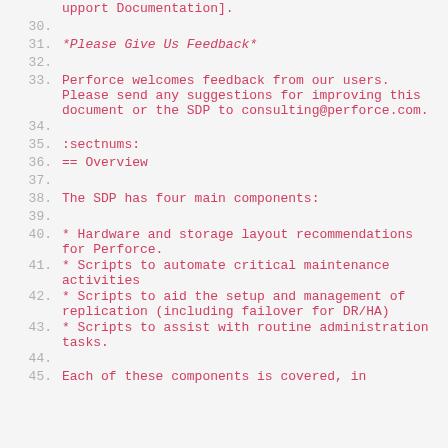upport Documentation].
30.
31. *Please Give Us Feedback*
32.
33. Perforce welcomes feedback from our users. Please send any suggestions for improving this document or the SDP to consulting@perforce.com.
34.
35. :sectnums:
36. == Overview
37.
38. The SDP has four main components:
39.
40. * Hardware and storage layout recommendations for Perforce.
41. * Scripts to automate critical maintenance activities
42. * Scripts to aid the setup and management of replication (including failover for DR/HA)
43. * Scripts to assist with routine administration tasks.
44.
45. Each of these components is covered, in